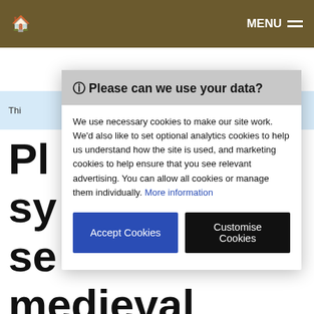MENU
Thi
Pl sy se medieval regular field
🛈 Please can we use your data?
We use necessary cookies to make our site work. We'd also like to set optional analytics cookies to help us understand how the site is used, and marketing cookies to help ensure that you see relevant advertising. You can allow all cookies or manage them individually. More information
Accept Cookies   Customise Cookies